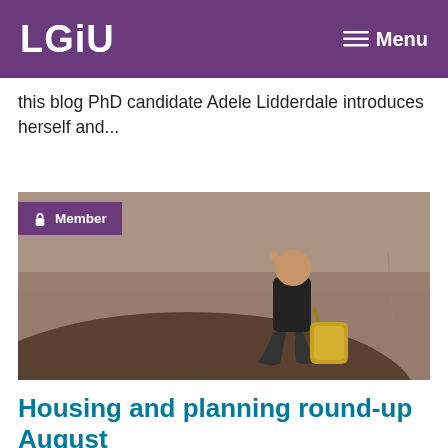LGiU  Menu
this blog PhD candidate Adele Lidderdale introduces herself and...
[Figure (photo): A person sitting against a concrete wall, head resting on hand, with a bag beside them. A purple 'Member' badge with a lock icon is overlaid in the top-left corner of the image.]
Housing and planning round-up August